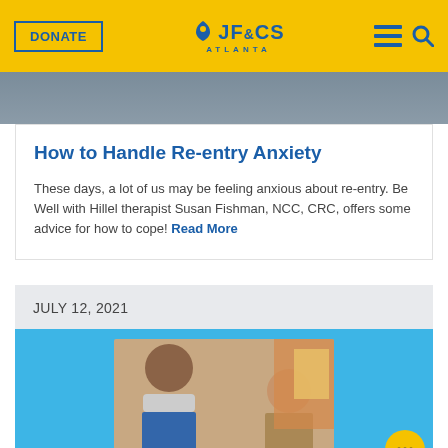DONATE | JF&CS Atlanta
[Figure (photo): Partial photo of a person visible at the top of the page, cropped]
How to Handle Re-entry Anxiety
These days, a lot of us may be feeling anxious about re-entry. Be Well with Hillel therapist Susan Fishman, NCC, CRC, offers some advice for how to cope! Read More
JULY 12, 2021
[Figure (photo): Two people posing together in what appears to be a kitchen/storage area; one person is wearing a face mask; boxes and packaged goods are visible in the background]